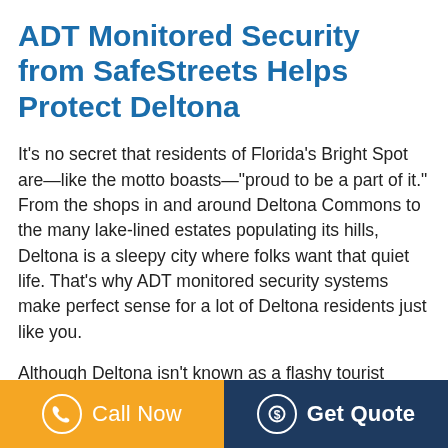ADT Monitored Security from SafeStreets Helps Protect Deltona
It's no secret that residents of Florida's Bright Spot are—like the motto boasts—"proud to be a part of it." From the shops in and around Deltona Commons to the many lake-lined estates populating its hills, Deltona is a sleepy city where folks want that quiet life. That's why ADT monitored security systems make perfect sense for a lot of Deltona residents just like you.
Although Deltona isn't known as a flashy tourist destination like Orlando, and even though most folks from the area consider it a bedroom community, the rapid growth of the city in recent decades has made finding peace of mind a little bit
Call Now   Get Quote